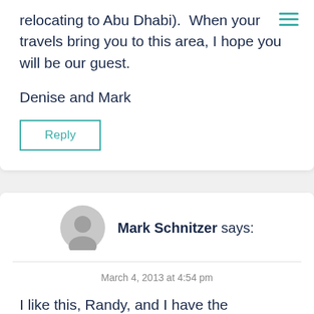[Figure (other): Hamburger menu icon (three horizontal teal lines) in top right corner]
relocating to Abu Dhabi). When your travels bring you to this area, I hope you will be our guest.
Denise and Mark
Reply
Mark Schnitzer says:
March 4, 2013 at 4:54 pm
I like this, Randy, and I have the